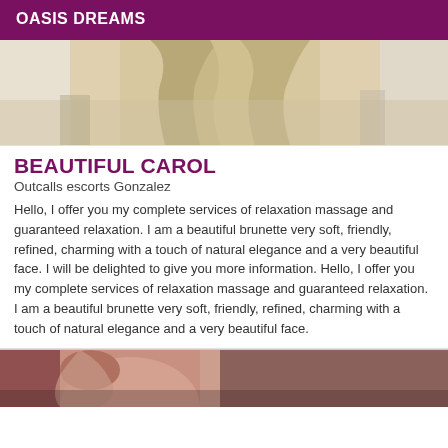OASIS DREAMS
[Figure (photo): Cropped photo of a person with long blonde/highlighted hair, partial torso view, bathroom setting background]
BEAUTIFUL CAROL
Outcalls escorts Gonzalez
Hello, I offer you my complete services of relaxation massage and guaranteed relaxation. I am a beautiful brunette very soft, friendly, refined, charming with a touch of natural elegance and a very beautiful face. I will be delighted to give you more information. Hello, I offer you my complete services of relaxation massage and guaranteed relaxation. I am a beautiful brunette very soft, friendly, refined, charming with a touch of natural elegance and a very beautiful face.
[Figure (photo): Cropped photo of a person with dark curly hair, partial upper body view]